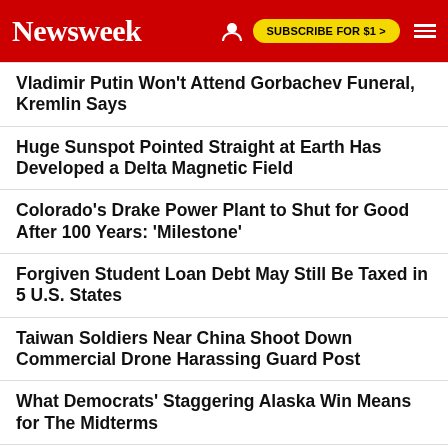Newsweek | SUBSCRIBE FOR $1 >
Vladimir Putin Won't Attend Gorbachev Funeral, Kremlin Says
Huge Sunspot Pointed Straight at Earth Has Developed a Delta Magnetic Field
Colorado's Drake Power Plant to Shut for Good After 100 Years: 'Milestone'
Forgiven Student Loan Debt May Still Be Taxed in 5 U.S. States
Taiwan Soldiers Near China Shoot Down Commercial Drone Harassing Guard Post
What Democrats' Staggering Alaska Win Means for The Midterms
EDITOR'S PICK